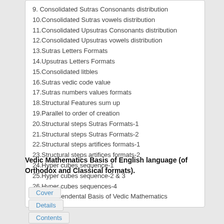9. Consolidated Sutras Consonants distribution
10.Consolidated Sutras vowels distribution
11.Consolidated Upsutras Consonants distribution
12.Consolidated Upsutras vowels distribution
13.Sutras Letters Formats
14.Upsutras Letters Formats
15.Consolidated litbles
16.Sutras vedic code value
17.Sutras numbers values formats
18.Structural Features sum up
19.Parallel to order of creation
20.Structural steps Sutras Formats-1
21.Structural steps Sutras Formats-2
22.Structural steps artifices formats-1
23.Structural steps artifices formats-2
24.Hyper cubes sequence-1
25.Hyper cubes sequence-2 & 3
26.Hyper cubes sequences-4
27.Transcendental Basis of Vedic Mathematics
Vedic Mathematics Basis of English language (of Orthodox and Classical formats).
Cover
Details
Contents